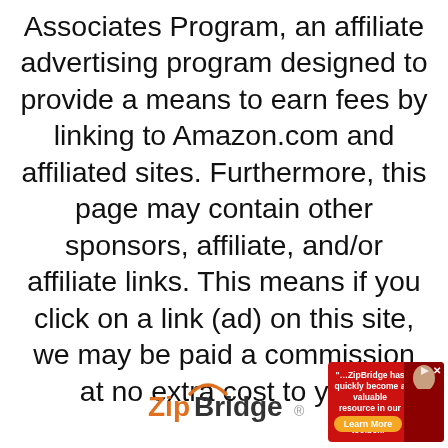Associates Program, an affiliate advertising program designed to provide a means to earn fees by linking to Amazon.com and affiliated sites. Furthermore, this page may contain other sponsors, affiliate, and/or affiliate links. This means if you click on a link (ad) on this site, we may be paid a commission at no extra cost to you.
[Figure (other): ZipBridge advertisement banner with logo and quote: '...ZipBridge has quickly become a valuable resource in our response toolbox.' with a Learn More button and person image.]